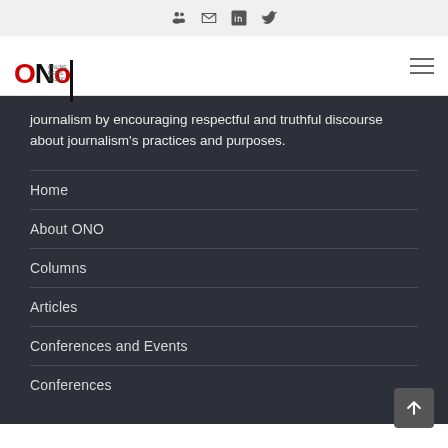Social icons bar: group/community, envelope, linkedin, twitter
[Figure (logo): ONO logo with red O and vertical line]
journalism by encouraging respectful and truthful discourse about journalism's practices and purposes.
Home
About ONO
Columns
Articles
Conferences and Events
Conferences